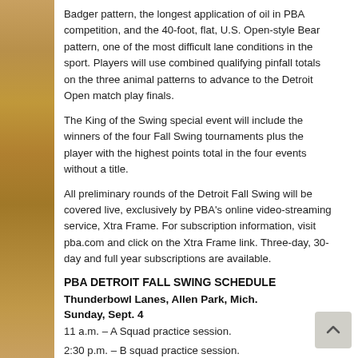Badger pattern, the longest application of oil in PBA competition, and the 40-foot, flat, U.S. Open-style Bear pattern, one of the most difficult lane conditions in the sport. Players will use combined qualifying pinfall totals on the three animal patterns to advance to the Detroit Open match play finals.
The King of the Swing special event will include the winners of the four Fall Swing tournaments plus the player with the highest points total in the four events without a title.
All preliminary rounds of the Detroit Fall Swing will be covered live, exclusively by PBA's online video-streaming service, Xtra Frame. For subscription information, visit pba.com and click on the Xtra Frame link. Three-day, 30-day and full year subscriptions are available.
PBA DETROIT FALL SWING SCHEDULE
Thunderbowl Lanes, Allen Park, Mich.
Sunday, Sept. 4
11 a.m. – A Squad practice session.
2:30 p.m. – B squad practice session.
6 p.m. – Pro-am.